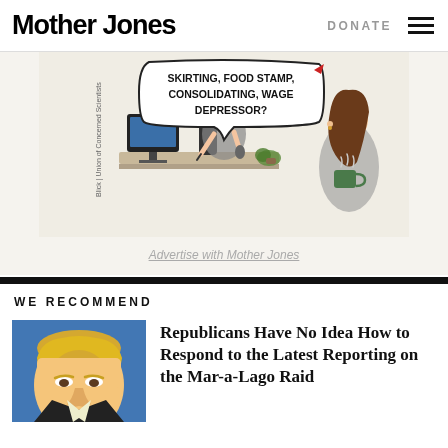Mother Jones | DONATE
[Figure (illustration): Cartoon showing a man at a desk with a speech bubble reading 'SKIRTING, FOOD STAMP, CONSOLIDATING, WAGE DEPRESSOR?' and a woman holding a coffee mug, attributed to Blick / Union of Concerned Scientists]
Advertise with Mother Jones
WE RECOMMEND
[Figure (photo): Photo thumbnail of a man, appears to be Trump, with a blue background]
Republicans Have No Idea How to Respond to the Latest Reporting on the Mar-a-Lago Raid